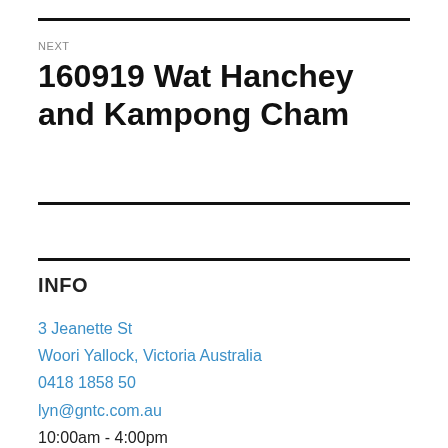NEXT
160919 Wat Hanchey and Kampong Cham
INFO
3 Jeanette St
Woori Yallock, Victoria Australia
0418 1858 50
lyn@gntc.com.au
10:00am - 4:00pm